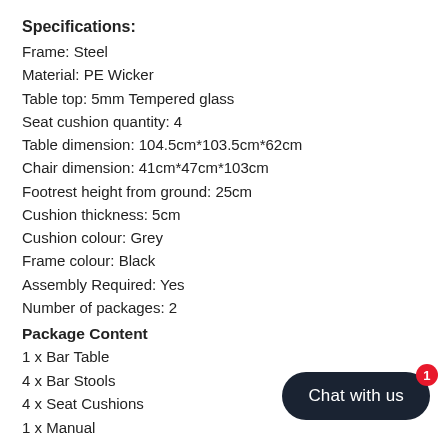Specifications:
Frame: Steel
Material: PE Wicker
Table top: 5mm Tempered glass
Seat cushion quantity: 4
Table dimension: 104.5cm*103.5cm*62cm
Chair dimension: 41cm*47cm*103cm
Footrest height from ground: 25cm
Cushion thickness: 5cm
Cushion colour: Grey
Frame colour: Black
Assembly Required: Yes
Number of packages: 2
Package Content
1 x Bar Table
4 x Bar Stools
4 x Seat Cushions
1 x Manual